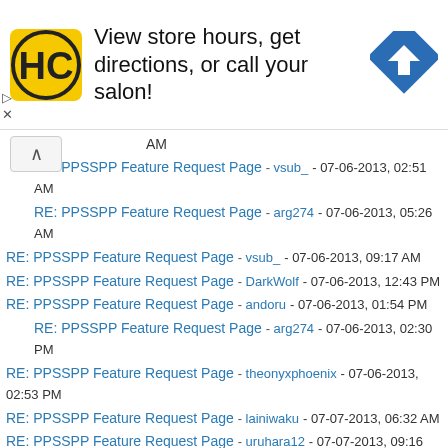[Figure (advertisement): HC salon advertisement banner with yellow/black logo, text 'View store hours, get directions, or call your salon!', and blue navigation arrow icon]
AM
RE: PPSSPP Feature Request Page - vsub_ - 07-06-2013, 02:51 AM
RE: PPSSPP Feature Request Page - arg274 - 07-06-2013, 05:26 AM
RE: PPSSPP Feature Request Page - vsub_ - 07-06-2013, 09:17 AM
RE: PPSSPP Feature Request Page - DarkWolf - 07-06-2013, 12:43 PM
RE: PPSSPP Feature Request Page - andoru - 07-06-2013, 01:54 PM
RE: PPSSPP Feature Request Page - arg274 - 07-06-2013, 02:30 PM
RE: PPSSPP Feature Request Page - theonyxphoenix - 07-06-2013, 02:53 PM
RE: PPSSPP Feature Request Page - lainiwaku - 07-07-2013, 06:32 AM
RE: PPSSPP Feature Request Page - uruhara12 - 07-07-2013, 09:16 AM
RE: PPSSPP Feature Request Page - vsub_ - 07-07-2013, 09:32 AM
RE: PPSSPP Feature Request Page - Skcyte - 07-07-2013, 10:46 AM
RE: PPSSPP Feature Request Page - arg274 - 07-07-2013, 03:40 PM
RE: PPSSPP Feature Request Page - Burna91 - 07-07-2013, 04:34 PM